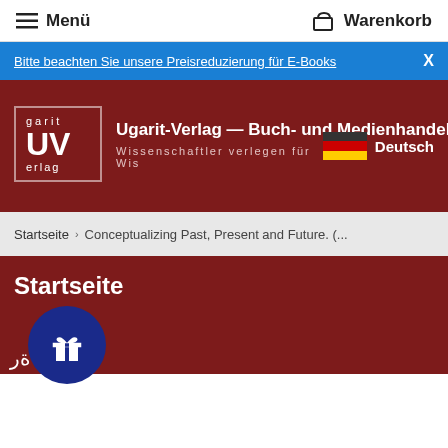Menü  Warenkorb
Bitte beachten Sie unsere Preisreduzierung für E-Books  X
[Figure (logo): Ugarit-Verlag logo with UV monogram in a bordered box]
Ugarit-Verlag — Buch- und Medienhandel
Wissenschaftler verlegen für Wis
Deutsch
Startseite  ›  Conceptualizing Past, Present and Future. (...
Startseite
ةر